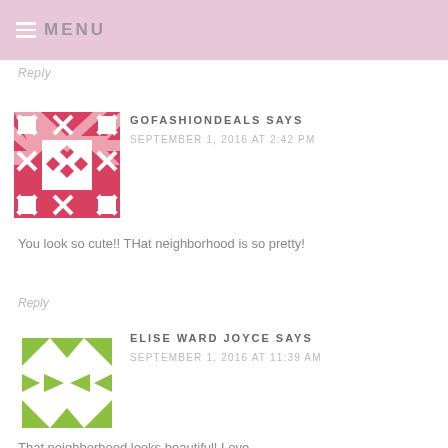MENU
Reply
[Figure (illustration): Red geometric quilt-pattern avatar for GOFASHIONDEALS]
GOFASHIONDEALS SAYS
SEPTEMBER 1, 2016 AT 2:42 PM
You look so cute!! THat neighborhood is so pretty!
Reply
[Figure (illustration): Green geometric quilt-pattern avatar for ELISE WARD JOYCE]
ELISE WARD JOYCE SAYS
SEPTEMBER 1, 2016 AT 11:39 AM
That neighborhood looks beautiful! Love